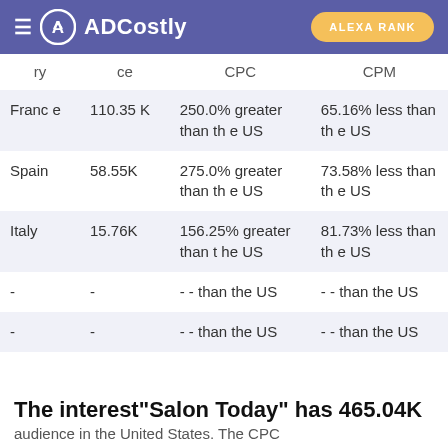ADCostly | ALEXA RANK
| ry | ce | CPC | CPM |
| --- | --- | --- | --- |
| France | 110.35K | 250.0% greater than the US | 65.16% less than the US |
| Spain | 58.55K | 275.0% greater than the US | 73.58% less than the US |
| Italy | 15.76K | 156.25% greater than the US | 81.73% less than the US |
| - | - | -- than the US | -- than the US |
| - | - | -- than the US | -- than the US |
The interest"Salon Today" has 465.04K
audience in the United States. The CPC